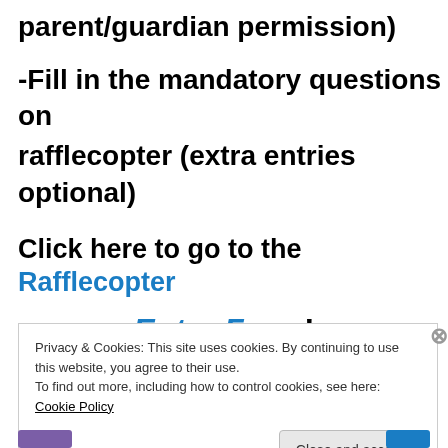parent/guardian permission)
-Fill in the mandatory questions on rafflecopter (extra entries optional)
Click here to go to the Rafflecopter Entry Form!
Privacy & Cookies: This site uses cookies. By continuing to use this website, you agree to their use.
To find out more, including how to control cookies, see here: Cookie Policy